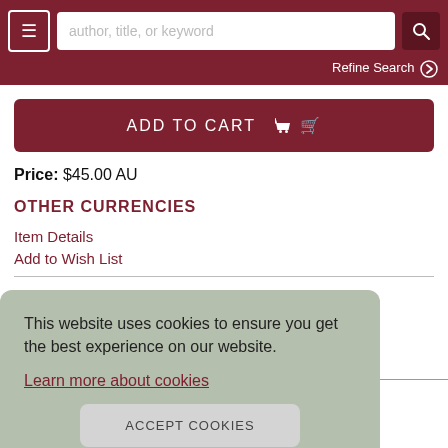author, title, or keyword [search bar] Refine Search
ADD TO CART
Price: $45.00 AU
OTHER CURRENCIES
Item Details
Add to Wish List
This website uses cookies to ensure you get the best experience on our website.
Learn more about cookies
ACCEPT COOKIES
DRA.
s.
Publishers. 1980. Colour and black and